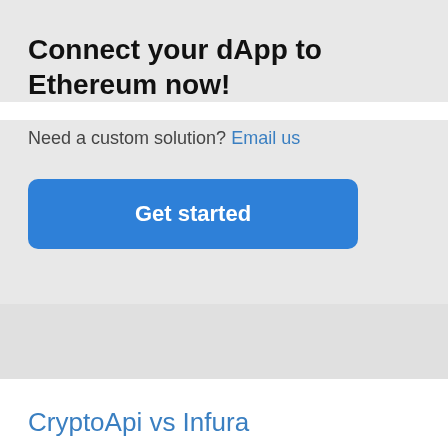Connect your dApp to Ethereum now!
Need a custom solution?  Email us
Get started
CryptoApi vs Infura